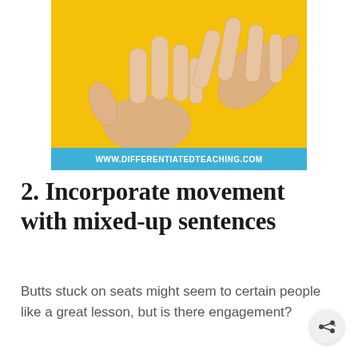[Figure (photo): Hands making finger gestures against a yellow background, with a blue banner at the bottom reading WWW.DIFFERENTIATEDTEACHING.COM]
2. Incorporate movement with mixed-up sentences
Butts stuck on seats might seem to certain people like a great lesson, but is there engagement?